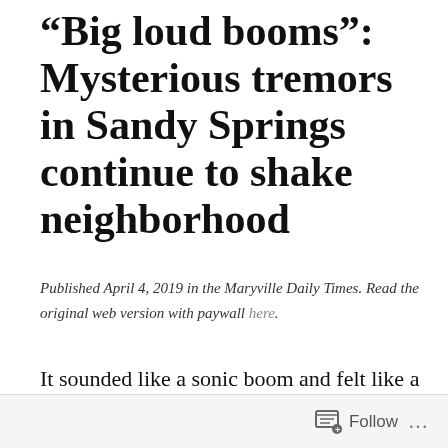“Big loud booms”: Mysterious tremors in Sandy Springs continue to shake neighborhood
Published April 4, 2019 in the Maryville Daily Times. Read the original web version with paywall here.
It sounded like a sonic boom and felt like a train coming, Cassandra Brown said from her porch in South Maryville.
Follow